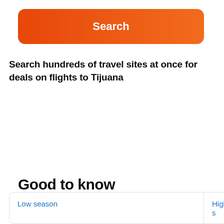[Figure (other): Orange gradient Search button with rounded corners]
Search hundreds of travel sites at once for deals on flights to Tijuana
Good to know
Low season
High s